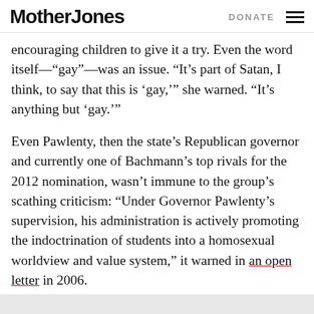Mother Jones | DONATE
encouraging children to give it a try. Even the word itself—“gay”—was an issue. “It’s part of Satan, I think, to say that this is ‘gay,’” she warned. “It’s anything but ‘gay.’”
Even Pawlenty, then the state’s Republican governor and currently one of Bachmann’s top rivals for the 2012 nomination, wasn’t immune to the group’s scathing criticism: “Under Governor Pawlenty’s supervision, his administration is actively promoting the indoctrination of students into a homosexual worldview and value system,” it warned in an open letter in 2006.